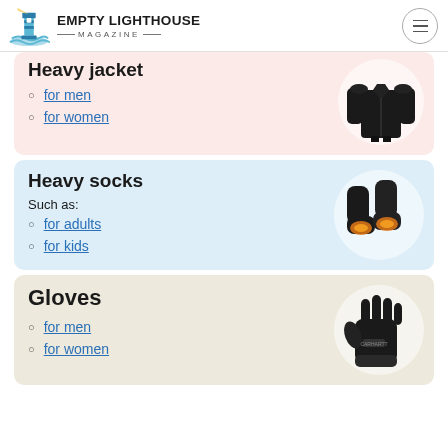Empty Lighthouse Magazine
Heavy jacket
for men
for women
[Figure (photo): Black heavy winter jacket on a person]
Heavy socks
Such as:
for adults
for kids
[Figure (photo): Black heated socks with orange glow on soles]
Gloves
for men
for women
[Figure (photo): Black winter gloves]